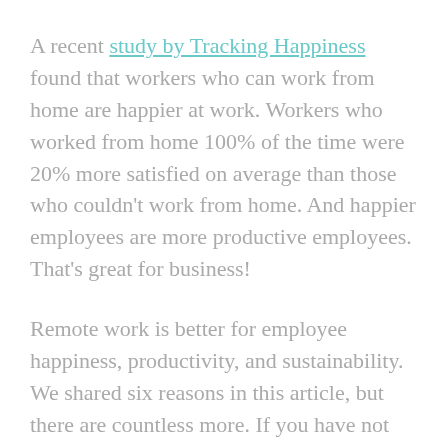A recent study by Tracking Happiness found that workers who can work from home are happier at work. Workers who worked from home 100% of the time were 20% more satisfied on average than those who couldn't work from home. And happier employees are more productive employees. That's great for business!
Remote work is better for employee happiness, productivity, and sustainability. We shared six reasons in this article, but there are countless more. If you have not considered hiring